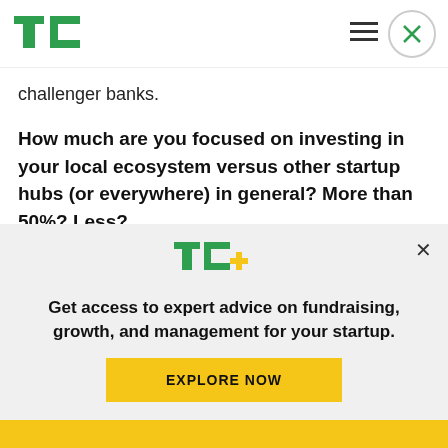TechCrunch logo, hamburger menu, close button
challenger banks.
How much are you focused on investing in your local ecosystem versus other startup hubs (or everywhere) in general? More than 50%? Less?
We invest more than 50% in our local ecosystem versus other startup hubs.
[Figure (logo): TC+ logo in green with gold plus sign]
Get access to expert advice on fundraising, growth, and management for your startup.
EXPLORE NOW